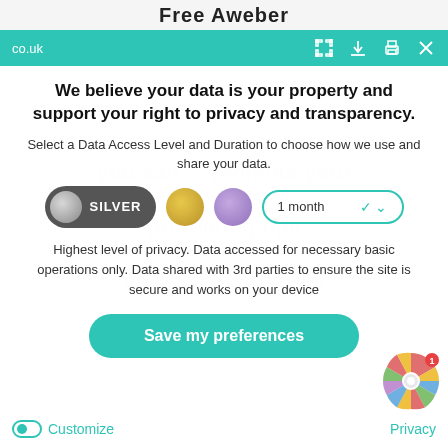Free Aweber
co.uk
We believe your data is your property and support your right to privacy and transparency.
Select a Data Access Level and Duration to choose how we use and share your data.
[Figure (infographic): Three privacy level circles (Silver selected pill, Gold circle, Purple circle) and a 1 month dropdown selector]
Highest level of privacy. Data accessed for necessary basic operations only. Data shared with 3rd parties to ensure the site is secure and works on your device
[Figure (infographic): Save my preferences button (teal rounded rectangle)]
[Figure (infographic): Spinning prize wheel widget in bottom right corner]
Customize   Privacy